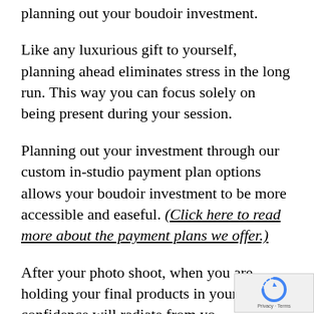planning out your boudoir investment.
Like any luxurious gift to yourself, planning ahead eliminates stress in the long run. This way you can focus solely on being present during your session.
Planning out your investment through our custom in-studio payment plan options allows your boudoir investment to be more accessible and easeful. (Click here to read more about the payment plans we offer.)
After your photo shoot, when you are holding your final products in your hands, confidence will radiate from yo